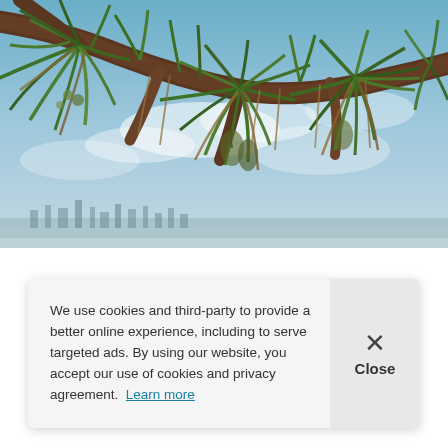[Figure (photo): Photograph of tropical palm/pandanus tree branches with green and brown foliage hanging down, against a light blue cloudy sky with distant city skyline visible at the horizon.]
We use cookies and third-party to provide a better online experience, including to serve targeted ads. By using our website, you accept our use of cookies and privacy agreement.  Learn more